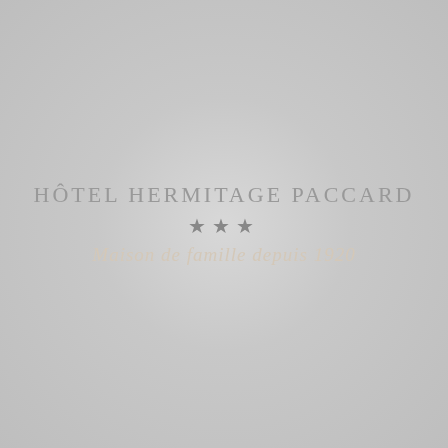[Figure (logo): Hotel Hermitage Paccard logo on a light gray radial gradient background. Shows hotel name in uppercase gray serif letters, three gray stars, and italic tagline 'Maison de famille depuis 1920' in light beige/cream color.]